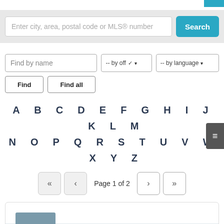[Figure (screenshot): Search bar with placeholder text 'Enter city, area, postal code or MLS® number' and a teal Search button on a light grey background]
Find by name
-- by off
-- by language
Find
Find all
A B C D E F G H I J K L M
N O P Q R S T U V W X Y Z
Page 1 of 2
[Figure (photo): Partially visible agent profile card at bottom of page]